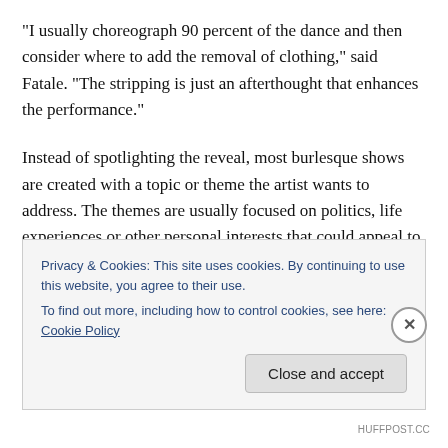“I usually choreograph 90 percent of the dance and then consider where to add the removal of clothing,” said Fatale. “The stripping is just an afterthought that enhances the performance.”
Instead of spotlighting the reveal, most burlesque shows are created with a topic or theme the artist wants to address. The themes are usually focused on politics, life experiences or other personal interests that could appeal to wide audiences.
“I li... (partial, cut off by cookie banner)
Privacy & Cookies: This site uses cookies. By continuing to use this website, you agree to their use.
To find out more, including how to control cookies, see here: Cookie Policy